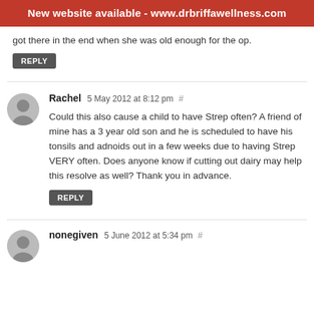New website available - www.drbriffawellness.com
got there in the end when she was old enough for the op.
REPLY
Rachel 5 May 2012 at 8:12 pm #
Could this also cause a child to have Strep often? A friend of mine has a 3 year old son and he is scheduled to have his tonsils and adnoids out in a few weeks due to having Strep VERY often. Does anyone know if cutting out dairy may help this resolve as well? Thank you in advance.
REPLY
nonegiven 5 June 2012 at 5:34 pm #